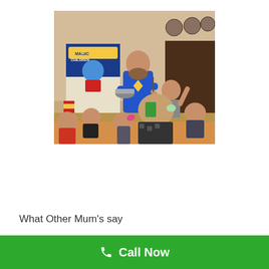[Figure (photo): A bearded man in a blue superhero t-shirt performs a magic show for a group of children. A boy on stage holds something in the air. Children sit on the floor watching. A Magic4Children banner is visible in the background.]
What Other Mum's say
Call Now